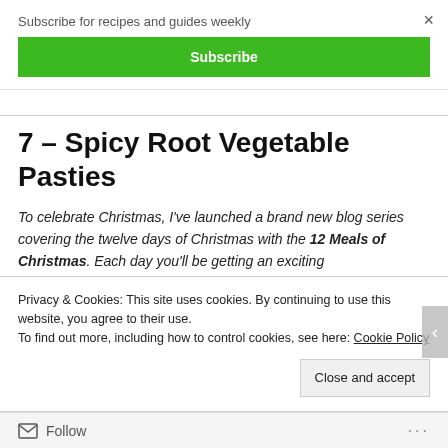Subscribe for recipes and guides weekly
Subscribe
×
7 – Spicy Root Vegetable Pasties
To celebrate Christmas, I've launched a brand new blog series covering the twelve days of Christmas with the 12 Meals of Christmas. Each day you'll be getting an exciting
Privacy & Cookies: This site uses cookies. By continuing to use this website, you agree to their use.
To find out more, including how to control cookies, see here: Cookie Policy
Close and accept
Follow